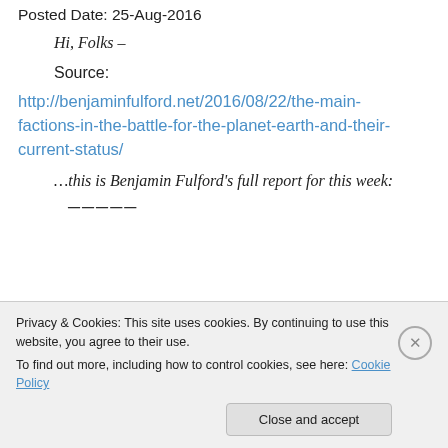Posted Date: 25-Aug-2016
Hi, Folks –
Source:
http://benjaminfulford.net/2016/08/22/the-main-factions-in-the-battle-for-the-planet-earth-and-their-current-status/
…this is Benjamin Fulford's full report for this week:
─────
Privacy & Cookies: This site uses cookies. By continuing to use this website, you agree to their use.
To find out more, including how to control cookies, see here: Cookie Policy
Close and accept